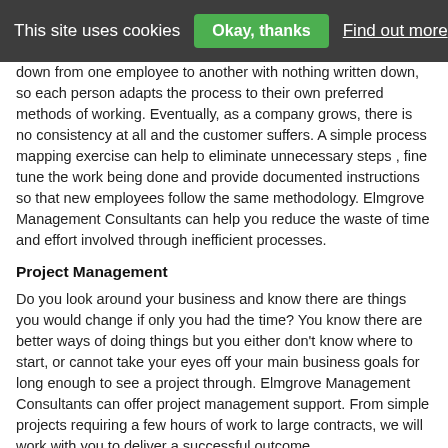This site uses cookies   Okay, thanks   Find out more
down from one employee to another with nothing written down, so each person adapts the process to their own preferred methods of working. Eventually, as a company grows, there is no consistency at all and the customer suffers. A simple process mapping exercise can help to eliminate unnecessary steps , fine tune the work being done and provide documented instructions so that new employees follow the same methodology. Elmgrove Management Consultants can help you reduce the waste of time and effort involved through inefficient processes.
Project Management
Do you look around your business and know there are things you would change if only you had the time? You know there are better ways of doing things but you either don't know where to start, or cannot take your eyes off your main business goals for long enough to see a project through. Elmgrove Management Consultants can offer project management support. From simple projects requiring a few hours of work to large contracts, we will work with you to deliver a successful outcome.
Quality Management Systems
Companies of all shapes and sizes across every sector have the need for quality management systems (QMS), either because of client contracts or to provide the framework for running a cost-effective and efficient business.
An effective QMS can greatly improve consistency of product delivery…